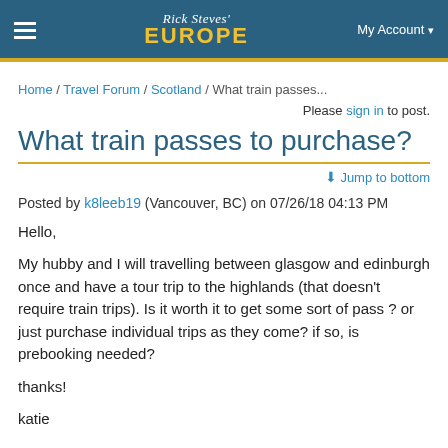Rick Steves' EUROPE | My Account
Home / Travel Forum / Scotland / What train passes...
Please sign in to post.
What train passes to purchase?
Jump to bottom
Posted by k8leeb19 (Vancouver, BC) on 07/26/18 04:13 PM
Hello,

My hubby and I will travelling between glasgow and edinburgh once and have a tour trip to the highlands (that doesn't require train trips). Is it worth it to get some sort of pass ? or just purchase individual trips as they come? if so, is prebooking needed?

thanks!

katie